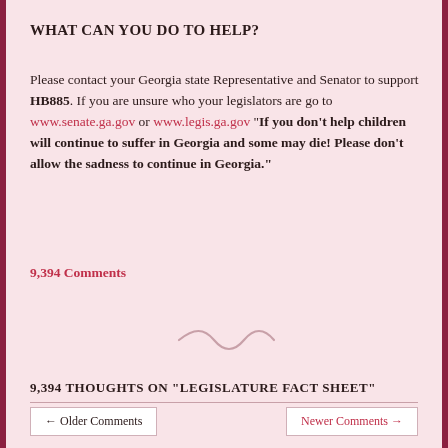WHAT CAN YOU DO TO HELP?
Please contact your Georgia state Representative and Senator to support HB885. If you are unsure who your legislators are go to www.senate.ga.gov or www.legis.ga.gov “If you don’t help children will continue to suffer in Georgia and some may die! Please don’t allow the sadness to continue in Georgia.”
9,394 Comments
[Figure (illustration): Decorative swirl/tilde divider graphic in light pink/mauve color]
9,394 THOUGHTS ON “LEGISLATURE FACT SHEET”
← Older Comments    Newer Comments →